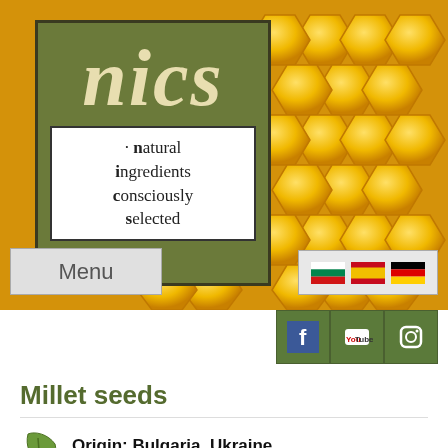[Figure (logo): NICS logo - Natural Ingredients Consciously Selected - green background with honeycomb pattern]
Menu
[Figure (infographic): Language selector flags: Bulgarian, Spanish, German]
[Figure (infographic): Social media icons: Facebook, YouTube, Instagram]
Millet seeds
Origin: Bulgaria, Ukraine